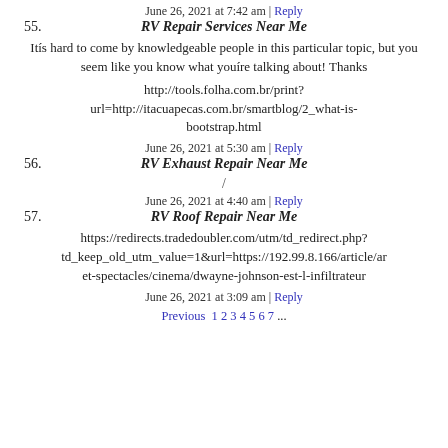55. June 26, 2021 at 7:42 am | Reply
RV Repair Services Near Me
Itís hard to come by knowledgeable people in this particular topic, but you seem like you know what youíre talking about! Thanks
http://tools.folha.com.br/print?url=http://itacuapecas.com.br/smartblog/2_what-is-bootstrap.html
56. June 26, 2021 at 5:30 am | Reply
RV Exhaust Repair Near Me
/
57. June 26, 2021 at 4:40 am | Reply
RV Roof Repair Near Me
https://redirects.tradedoubler.com/utm/td_redirect.php?td_keep_old_utm_value=1&url=https://192.99.8.166/article/ar et-spectacles/cinema/dwayne-johnson-est-l-infiltrateur
June 26, 2021 at 3:09 am | Reply
Previous 1 2 3 4 5 6 7 ...